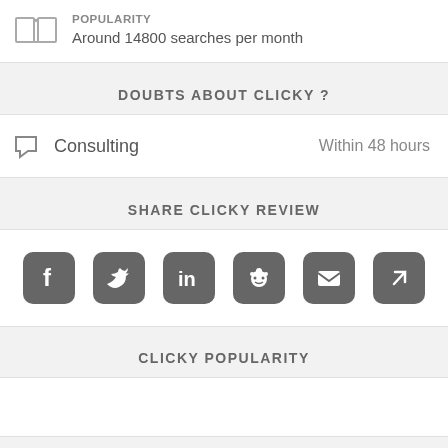POPULARITY
Around 14800 searches per month
DOUBTS ABOUT CLICKY ?
Consulting    Within 48 hours
SHARE CLICKY REVIEW
[Figure (infographic): Six social share icons: Facebook, Twitter, LinkedIn, Reddit, Email, External link]
CLICKY POPULARITY
[Figure (other): Empty white block for popularity chart]
IS CLICKY A SCAM ?